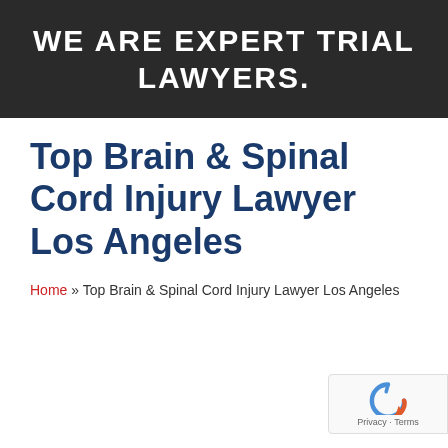WE ARE EXPERT TRIAL LAWYERS.
Top Brain & Spinal Cord Injury Lawyer Los Angeles
Home » Top Brain & Spinal Cord Injury Lawyer Los Angeles
[Figure (logo): reCAPTCHA badge with blue circular arrow icon and Privacy · Terms text]